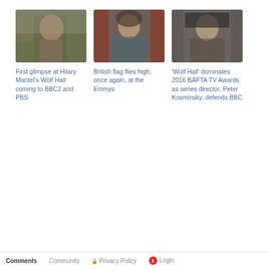[Figure (photo): Still from Wolf Hall TV show - man in historical costume with dark hat outdoors]
First glimpse at Hilary Mantel's Wolf Hall coming to BBC2 and PBS
[Figure (photo): Elderly woman in ornate hat and teal jacket - likely Downton Abbey or similar British period drama]
British flag flies high, once again, at the Emmys
[Figure (photo): Man in dark historical costume with black cap looking serious - from Wolf Hall]
'Wolf Hall' dominates 2016 BAFTA TV Awards as series director, Peter Kosminsky, defends BBC
Comments   Community   Privacy Policy   1   Login